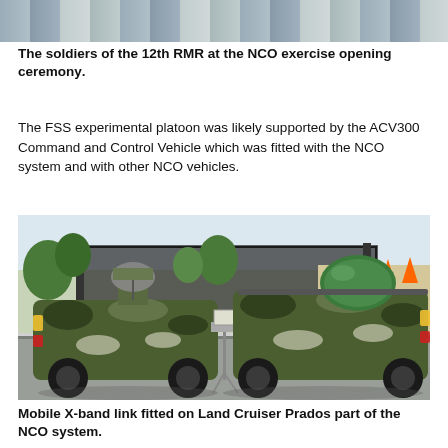[Figure (photo): Top portion of a photo showing soldiers at the NCO exercise opening ceremony, partially cropped]
The soldiers of the 12th RMR at the NCO exercise opening ceremony.
The FSS experimental platoon was likely supported by the ACV300 Command and Control Vehicle which was fitted with the NCO system and with other NCO vehicles.
[Figure (photo): Two camouflaged Land Cruiser Prado vehicles fitted with mobile X-band communication equipment including satellite dishes and dome antennas, part of the NCO system, parked on a road with greenery and a gate in the background]
Mobile X-band link fitted on Land Cruiser Prados part of the NCO system.